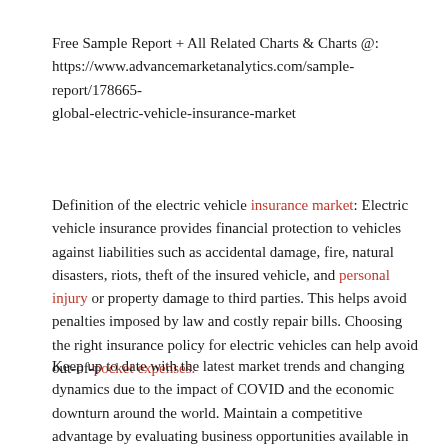Free Sample Report + All Related Charts & Charts @: https://www.advancemarketanalytics.com/sample-report/178665-global-electric-vehicle-insurance-market
Definition of the electric vehicle insurance market: Electric vehicle insurance provides financial protection to vehicles against liabilities such as accidental damage, fire, natural disasters, riots, theft of the insured vehicle, and personal injury or property damage to third parties. This helps avoid penalties imposed by law and costly repair bills. Choosing the right insurance policy for electric vehicles can help avoid out-of-pocket expenses.
Keep up to date with the latest market trends and changing dynamics due to the impact of COVID and the economic downturn around the world. Maintain a competitive advantage by evaluating business opportunities available in the global Electric Vehicle Insurance market, various emerging segments and